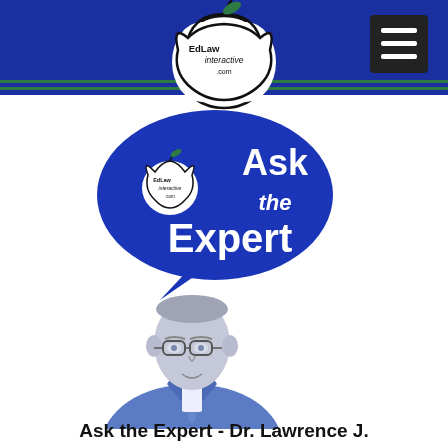[Figure (logo): EdLaw Interactive logo with apple and 'Ask the Expert' speech bubble graphic in blue]
[Figure (photo): Photo of an elderly man in a blue suit and tie, rendered in blue-tinted monochrome, facing slightly right]
Ask the Expert - Dr. Lawrence J.